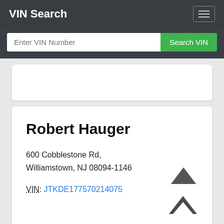VIN Search
Enter VIN Number
Search VIN
Robert Hauger
600 Cobblestone Rd, Williamstown, NJ 08094-1146
VIN: JTKDE177570214075